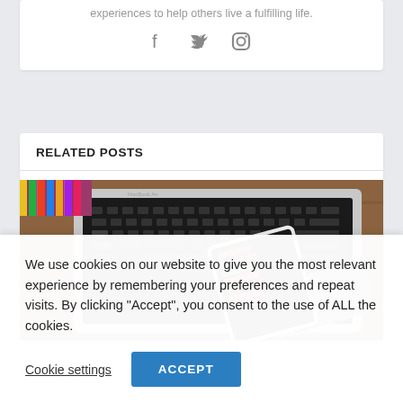experiences to help others live a fulfilling life.
[Figure (illustration): Social media icons: Facebook (f), Twitter (bird), Instagram (camera)]
RELATED POSTS
[Figure (photo): A person holding a smartphone showing a stock trading app with red and green bars, with a MacBook laptop keyboard in the background on a wooden desk.]
We use cookies on our website to give you the most relevant experience by remembering your preferences and repeat visits. By clicking “Accept”, you consent to the use of ALL the cookies.
Cookie settings
ACCEPT